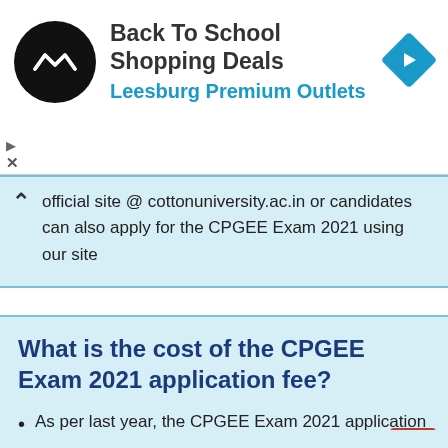[Figure (other): Ad banner: Back To School Shopping Deals - Leesburg Premium Outlets with logo and navigation arrow icon]
official site @ cottonuniversity.ac.in or candidates can also apply for the CPGEE Exam 2021 using our site
What is the cost of the CPGEE Exam 2021 application fee?
As per last year, the CPGEE Exam 2021 application fee will be Rs.800/-
In which mode the CPGEE Exam